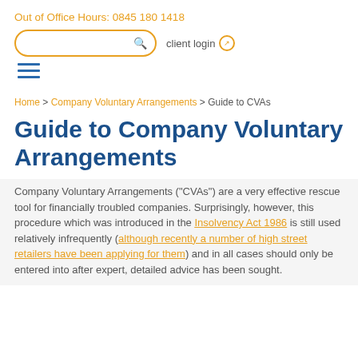Out of Office Hours: 0845 180 1418
client login
[Figure (other): Hamburger menu icon with three horizontal blue lines]
Home > Company Voluntary Arrangements > Guide to CVAs
Guide to Company Voluntary Arrangements
Company Voluntary Arrangements (“CVAs”) are a very effective rescue tool for financially troubled companies. Surprisingly, however, this procedure which was introduced in the Insolvency Act 1986 is still used relatively infrequently (although recently a number of high street retailers have been applying for them) and in all cases should only be entered into after expert, detailed advice has been sought.